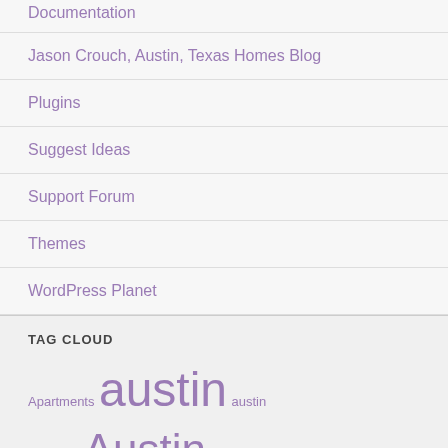Documentation
Jason Crouch, Austin, Texas Homes Blog
Plugins
Suggest Ideas
Support Forum
Themes
WordPress Planet
TAG CLOUD
Apartments austin austin business Austin Austin Commercial Real Estate Austin Development Austin Economy austin industrial Austin Lease Rates Austin Leasing Austin Real